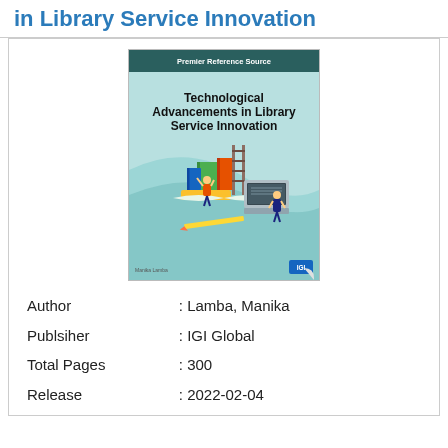in Library Service Innovation
[Figure (illustration): Book cover of 'Technological Advancements in Library Service Innovation' published by IGI Global, Premier Reference Source series. Cover shows illustrated people working with books and a laptop on a teal background.]
| Author | : Lamba, Manika |
| Publsiher | : IGI Global |
| Total Pages | : 300 |
| Release | : 2022-02-04 |